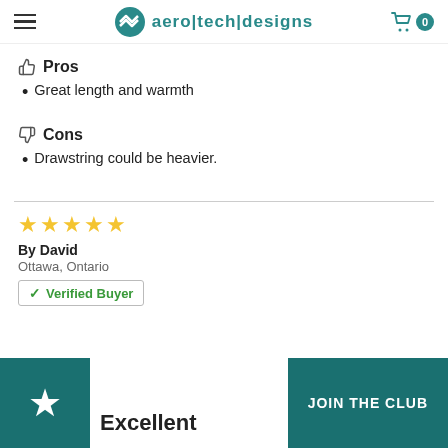aero|tech|designs — navigation header with cart (0 items)
Pros
Great length and warmth
Cons
Drawstring could be heavier.
[Figure (other): 5 gold stars rating]
By David
Ottawa, Ontario
✓ Verified Buyer
Excellent